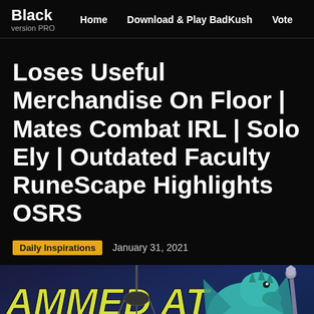Black version PRO | Home | Download & Play BadKush | Vote
Loses Useful Merchandise On Floor | Mates Combat IRL | Solo Ely | Outdated Faculty RuneScape Highlights OSRS
Daily Inspirations   January 31, 2021
[Figure (screenshot): Thumbnail image showing 'AMMED AT ARENA' text in yellow bold italic font on a dark blue background, with a teal dragon/creature character on the right side holding a weapon, and a red banner at the bottom.]